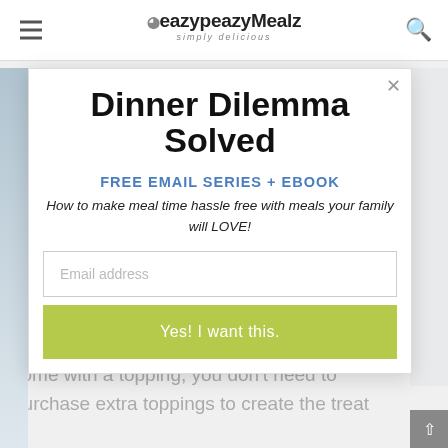eazypeazyMealz simply delicious
Dinner Dilemma Solved
FREE EMAIL SERIES + EBOOK
How to make meal time hassle free with meals your family will LOVE!
Email address
Yes! I want this.
come with a topping, you don't need to purchase extra toppings to create the treat